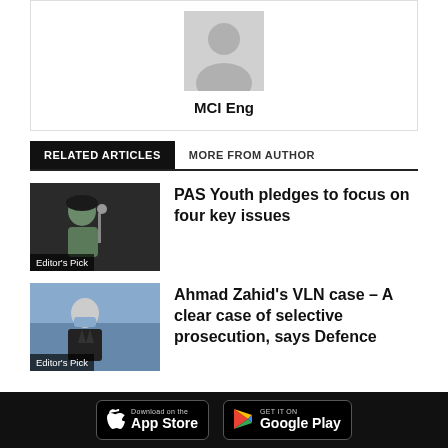[Figure (illustration): Generic person/avatar silhouette placeholder image in gray]
MCI Eng
RELATED ARTICLES  MORE FROM AUTHOR
[Figure (photo): Photo of a man in a cap at a microphone, article about PAS Youth]
Editor's Pick
PAS Youth pledges to focus on four key issues
[Figure (photo): Photo of Ahmad Zahid in a mask, article about VLN case]
Editor's Pick
Ahmad Zahid's VLN case – A clear case of selective prosecution, says Defence
Download on the App Store  GET IT ON Google Play